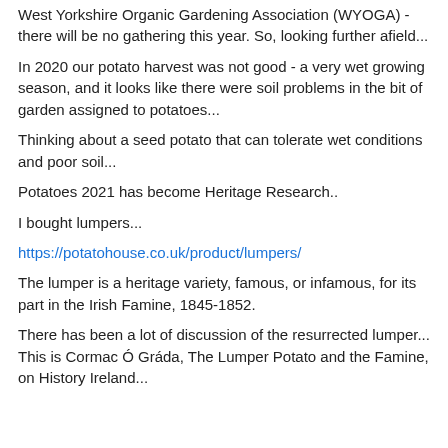West Yorkshire Organic Gardening Association (WYOGA) - there will be no gathering this year.  So, looking further afield...
In 2020 our potato harvest was not good - a very wet growing season, and it looks like there were soil problems in the bit of garden assigned to potatoes...
Thinking about a seed potato that can tolerate wet conditions and poor soil...
Potatoes 2021 has become Heritage Research..
I bought lumpers...
https://potatohouse.co.uk/product/lumpers/
The lumper is a heritage variety, famous, or infamous, for its part in the Irish Famine, 1845-1852.
There has been a lot of discussion of the resurrected lumper...  This is Cormac Ó Gráda, The Lumper Potato and the Famine, on History Ireland...